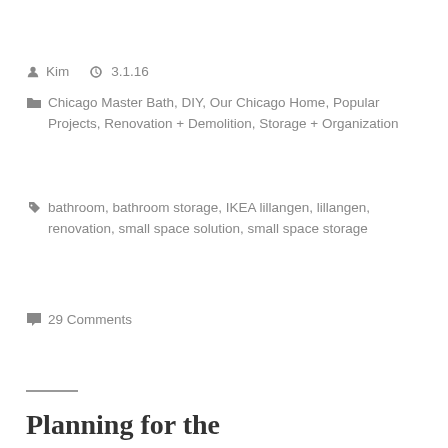Kim   3.1.16
Chicago Master Bath, DIY, Our Chicago Home, Popular Projects, Renovation + Demolition, Storage + Organization
bathroom, bathroom storage, IKEA lillangen, lillangen, renovation, small space solution, small space storage
29 Comments
Planning for the...